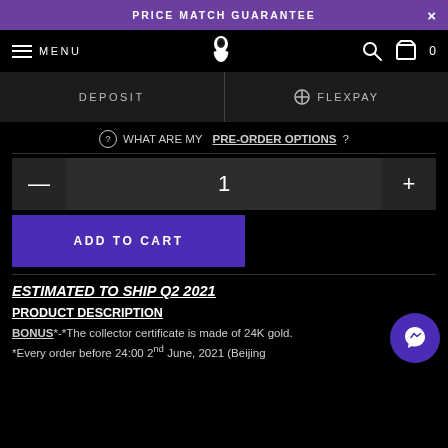PRICE MATCH GUARANTEE
MENU
DEPOSIT
FLEXPAY
WHAT ARE MY PRE-ORDER OPTIONS?
1
ADD TO CART
ESTIMATED TO SHIP Q2 2021
PRODUCT DESCRIPTION
BONUS*-*The collector certificate is made of 24K gold. *Every order before 24:00 2 nd June, 2021 (Beijing